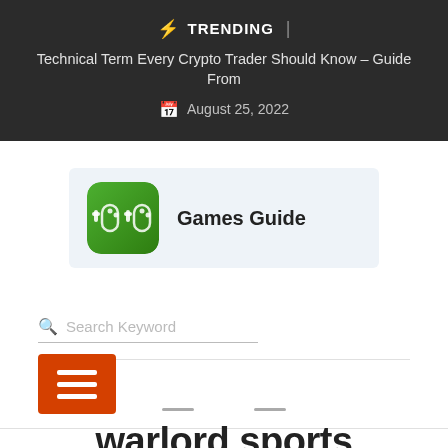⚡ TRENDING | Technical Term Every Crypto Trader Should Know – Guide From | August 25, 2022
[Figure (logo): Games Guide logo icon with green gamepad illustration and 'Games Guide' text label]
Search Keyword
[Figure (other): Orange hamburger menu button with three white horizontal bars]
warlord sports